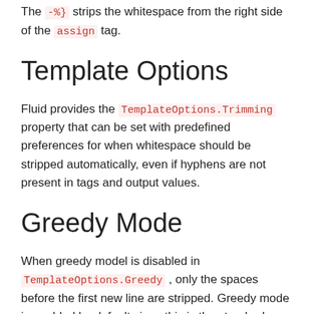The -%} strips the whitespace from the right side of the assign tag.
Template Options
Fluid provides the TemplateOptions.Trimming property that can be set with predefined preferences for when whitespace should be stripped automatically, even if hyphens are not present in tags and output values.
Greedy Mode
When greedy model is disabled in TemplateOptions.Greedy , only the spaces before the first new line are stripped. Greedy mode is enabled by default since this is the standard behavior of the Liquid language.